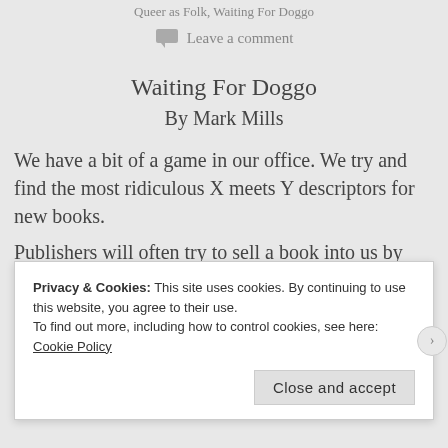Queer as Folk, Waiting For Doggo
Leave a comment
Waiting For Doggo
By Mark Mills
We have a bit of a game in our office. We try and find the most ridiculous X meets Y descriptors for new books.
Publishers will often try to sell a book into us by telling
Privacy & Cookies: This site uses cookies. By continuing to use this website, you agree to their use.
To find out more, including how to control cookies, see here: Cookie Policy
Close and accept